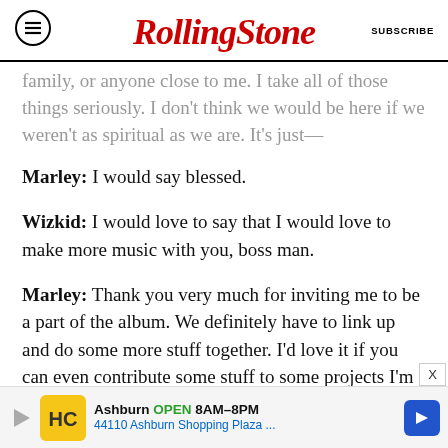RollingStone — SUBSCRIBE
family, or anyone close to me. I take all of those things seriously. I don't think we would be here if we weren't as spiritual as we are. It's just—
Marley: I would say blessed.
Wizkid: I would love to say that I would love to make more music with you, boss man.
Marley: Thank you very much for inviting me to be a part of the album. We definitely have to link up and do some more stuff together. I'd love it if you can even contribute some stuff to some projects I'm working on. Even outside of your vocals, some
[Figure (infographic): Advertisement banner: Ashburn OPEN 8AM-8PM, 44110 Ashburn Shopping Plaza...]